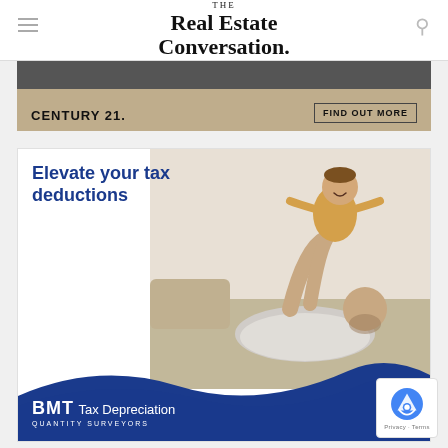THE Real Estate Conversation.
[Figure (illustration): Century 21 advertisement banner with tan background showing 'CENTURY 21' text and 'FIND OUT MORE' button, with a dark image strip at top]
[Figure (illustration): BMT Tax Depreciation advertisement with headline 'Elevate your tax deductions', photo of father lifting child, blue wave design at bottom, BMT Tax Depreciation Quantity Surveyors logo in white]